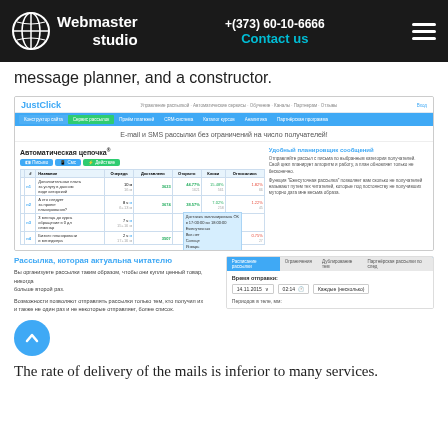Webmaster Studio | +(373) 60-10-6666 | Contact us
message planner, and a constructor.
[Figure (screenshot): JustClick email marketing platform screenshot showing automatic message chain interface with statistics table]
[Figure (screenshot): JustClick mailing scheduler interface showing time-based send options and a back-to-top button]
The rate of delivery of the mails is inferior to many services.